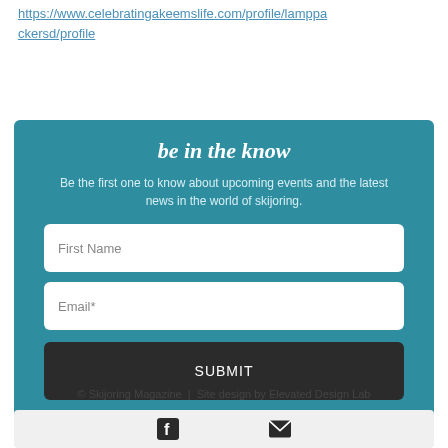https://www.celebratingakeemslife.com/profile/lamppackersd/profile
be in the know
Be the first one to know about upcoming events and the latest news in the world of skijoring.
[Figure (other): Newsletter signup form with First Name field, Email* field, and SUBMIT button on teal background]
© Skijoring Magazine  |  Site design by Elevated Design Lab
[Figure (other): Footer panel with Facebook icon and email/envelope icon]